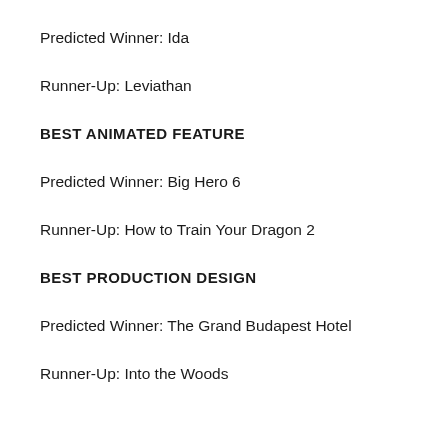Predicted Winner: Ida
Runner-Up: Leviathan
BEST ANIMATED FEATURE
Predicted Winner: Big Hero 6
Runner-Up: How to Train Your Dragon 2
BEST PRODUCTION DESIGN
Predicted Winner: The Grand Budapest Hotel
Runner-Up: Into the Woods